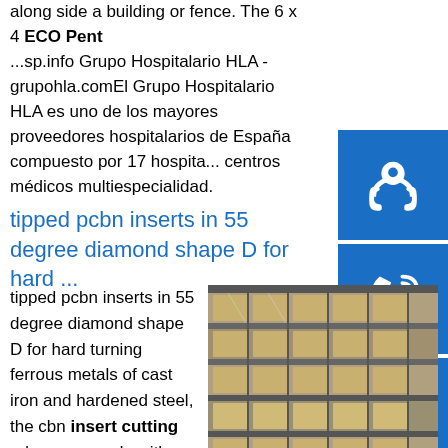along side a building or fence. The 6 x 4 ECO Pent ...sp.info Grupo Hospitalario HLA - grupohla.comEl Grupo Hospitalario HLA es uno de los mayores proveedores hospitalarios de España compuesto por 17 hospita... centros médicos multiespecialidad.
tipped pcbn inserts in 55 degree diamond shape D for hard ...
tipped pcbn inserts in 55 degree diamond shape D for hard turning ferrous metals of cast iron and hardened steel, the cbn insert cutting edges are made with polycrystalline cubic boron nitride, indexable inserts with cbn tips are precision cutting tools, which are used in cnc fine finish machining and turning roller, bearing, pumps, automobile brake disk, aircraft jet engine.sp.info Regency Office Chair - Manufacturers,
[Figure (photo): Shelves or racks stacked with metal or wooden rectangular sections in a warehouse or storage facility.]